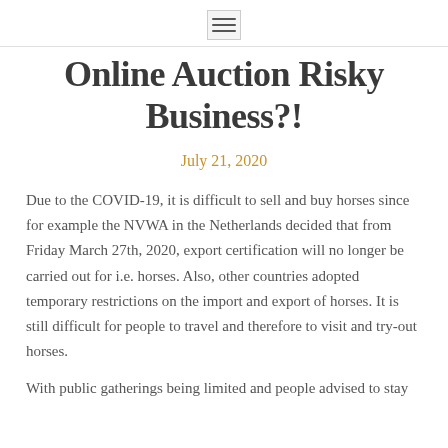[hamburger menu icon]
Online Auction Risky Business?!
July 21, 2020
Due to the COVID-19, it is difficult to sell and buy horses since for example the NVWA in the Netherlands decided that from Friday March 27th, 2020, export certification will no longer be carried out for i.e. horses. Also, other countries adopted temporary restrictions on the import and export of horses. It is still difficult for people to travel and therefore to visit and try-out horses.
With public gatherings being limited and people advised to stay